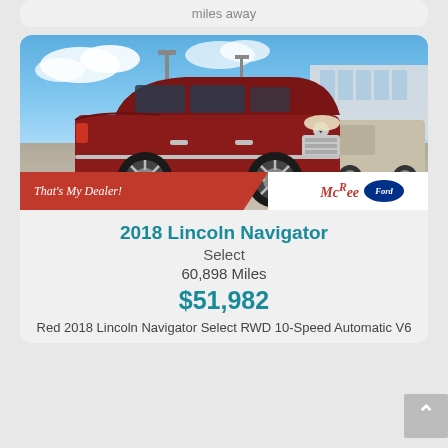miles away
[Figure (photo): Red 2018 Lincoln Navigator SUV parked outside a Ford dealership (McRee Ford) under a blue sky. The vehicle is dark red/maroon colored with chrome accents and large alloy wheels. Dealer banner overlay reads 'That's My Dealer!' and 'McRee Ford'.]
2018 Lincoln Navigator
Select
60,898 Miles
$51,982
Red 2018 Lincoln Navigator Select RWD 10-Speed Automatic V6